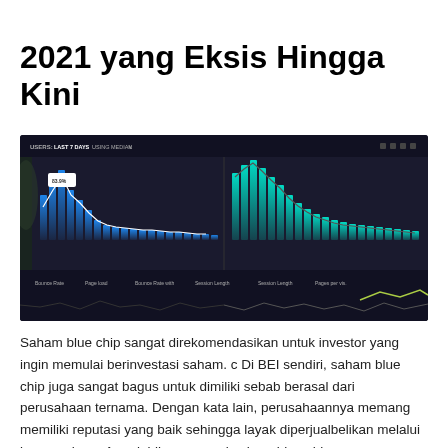2021 yang Eksis Hingga Kini
[Figure (screenshot): Dark-themed analytics dashboard screenshot showing user statistics charts with bar charts and line graphs, displaying metrics like 2.7Kpvs, 40.6%, 479K, 17min, 3pvs]
Saham blue chip sangat direkomendasikan untuk investor yang ingin memulai berinvestasi saham. c Di BEI sendiri, saham blue chip juga sangat bagus untuk dimiliki sebab berasal dari perusahaan ternama. Dengan kata lain, perusahaannya memang memiliki reputasi yang baik sehingga layak diperjualbelikan melalui bursa saham. Agar lebih mengenal saham blue chip, …
Read More »